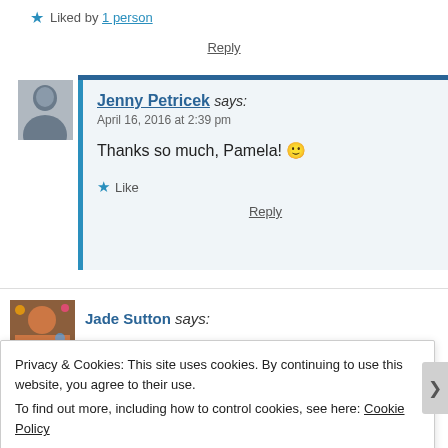★ Liked by 1 person
Reply
Jenny Petricek says:
April 16, 2016 at 2:39 pm
Thanks so much, Pamela! 🙂
★ Like
Reply
Jade Sutton says:
Privacy & Cookies: This site uses cookies. By continuing to use this website, you agree to their use.
To find out more, including how to control cookies, see here: Cookie Policy
Close and accept